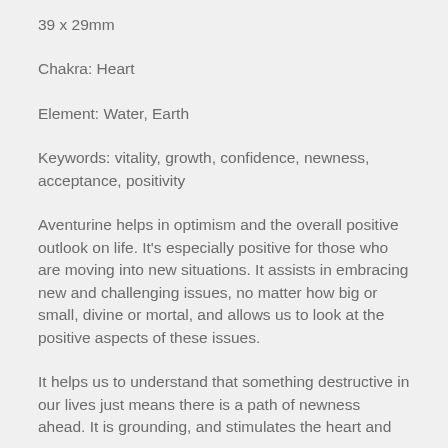39 x 29mm
Chakra: Heart
Element: Water, Earth
Keywords: vitality, growth, confidence, newness, acceptance, positivity
Aventurine helps in optimism and the overall positive outlook on life. It's especially positive for those who are moving into new situations. It assists in embracing new and challenging issues, no matter how big or small, divine or mortal, and allows us to look at the positive aspects of these issues.
It helps us to understand that something destructive in our lives just means there is a path of newness ahead. It is grounding, and stimulates the heart and